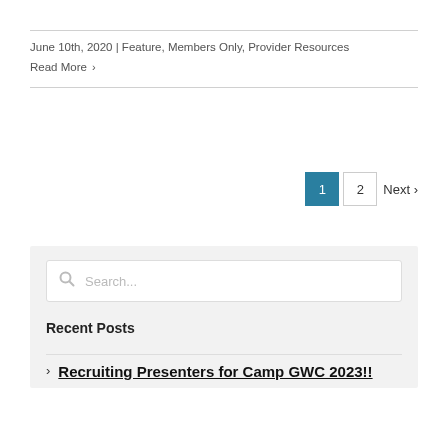June 10th, 2020 | Feature, Members Only, Provider Resources
Read More ›
1  2  Next ›
Search...
Recent Posts
Recruiting Presenters for Camp GWC 2023!!